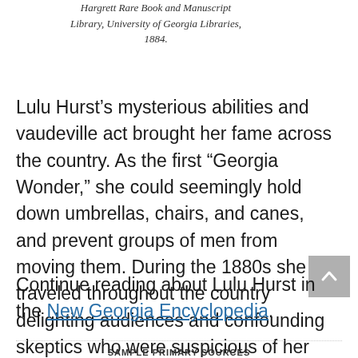Hargrett Rare Book and Manuscript Library, University of Georgia Libraries, 1884.
Lulu Hurst’s mysterious abilities and vaudeville act brought her fame across the country. As the first “Georgia Wonder,” she could seemingly hold down umbrellas, chairs, and canes, and prevent groups of men from moving them. During the 1880s she traveled throughout the country delighting audiences and confounding skeptics who were suspicious of her tricks.
Continue reading about Lulu Hurst in the New Georgia Encyclopedia.
SAMPLE PRIMARY SOURCES